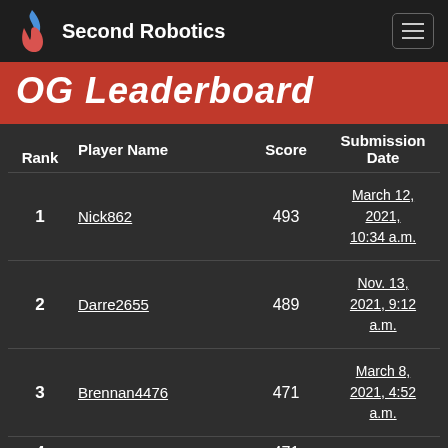Second Robotics
OG Leaderboard
| Rank | Player Name | Score | Submission Date |
| --- | --- | --- | --- |
| 1 | Nick862 | 493 | March 12, 2021, 10:34 a.m. |
| 2 | Darre2655 | 489 | Nov. 13, 2021, 9:12 a.m. |
| 3 | Brennan4476 | 471 | March 8, 2021, 4:52 a.m. |
| 4 | Logan4476 | 471 | May 6 |